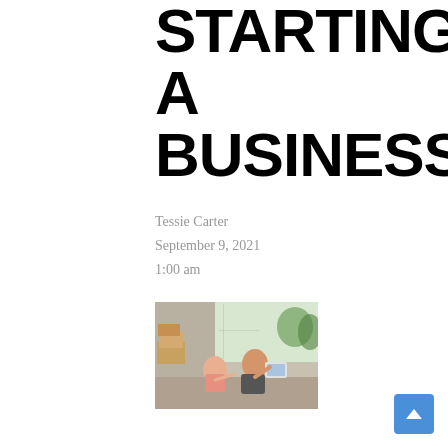STARTING A BUSINESS?
Tessie Carter
September 9, 2021
1:00 am
[Figure (photo): Two people (a man and a woman) sitting on the floor surrounded by cardboard boxes, looking at a tablet computer together, in a room with large windows and greenery outside.]